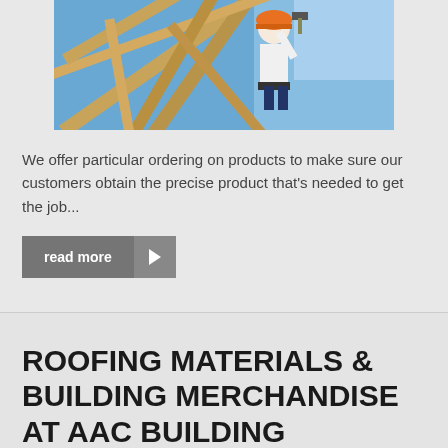[Figure (photo): Construction worker on a roof frame, hammering wooden beams against a blue sky background. View from below looking up at the timber structure.]
We offer particular ordering on products to make sure our customers obtain the precise product that's needed to get the job...
read more
ROOFING MATERIALS & BUILDING MERCHANDISE AT AAC BUILDING MATERIALS